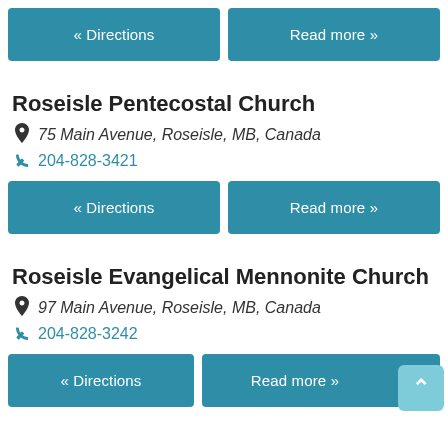« Directions
Read more »
Roseisle Pentecostal Church
75 Main Avenue, Roseisle, MB, Canada
204-828-3421
« Directions
Read more »
Roseisle Evangelical Mennonite Church
97 Main Avenue, Roseisle, MB, Canada
204-828-3242
« Directions
Read more »